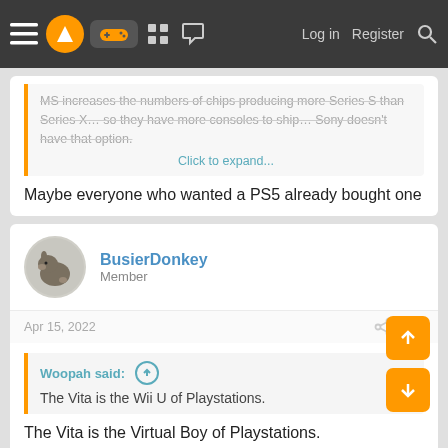Navigation bar with menu, logo, game controller, grid, chat icons, Log in, Register, Search
MS increases the numbers of chips producing more Series S than Series X… so they have more consoles to ship… Sony doesn't have that option.
Click to expand...
Maybe everyone who wanted a PS5 already bought one
BusierDonkey
Member
Apr 15, 2022
#92
Woopah said:
The Vita is the Wii U of Playstations.
The Vita is the Virtual Boy of Playstations.